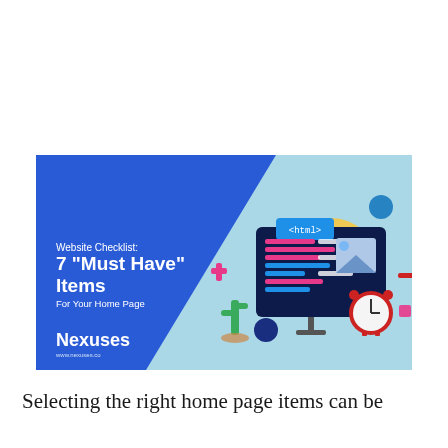[Figure (illustration): Banner image for 'Website Checklist: 7 Must Have Items For Your Home Page' by Nexuses. Blue diagonal background on left with white text and Nexuses logo/URL. Light blue background on right with 3D illustration of coding monitor, alarm clock, and decorative elements including a cactus, html tag bubble, and geometric shapes.]
Selecting the right home page items can be